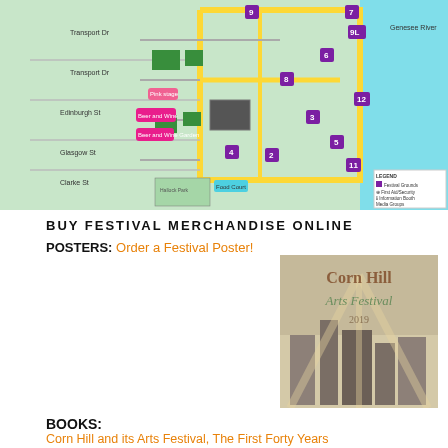[Figure (map): Corn Hill Arts Festival map showing streets, numbered festival areas, beer and wine gardens, food courts, and legend with colored markers for various facilities]
BUY FESTIVAL MERCHANDISE ONLINE
POSTERS: Order a Festival Poster!
[Figure (illustration): Corn Hill Arts Festival 2019 poster showing artistic rendering of city buildings with the festival name in decorative lettering]
BOOKS:
Corn Hill and its Arts Festival, The First Forty Years